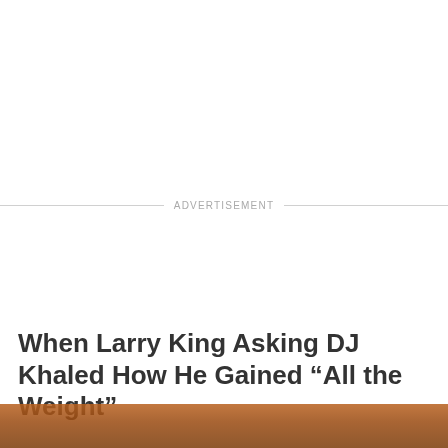ADVERTISEMENT
When Larry King Asking DJ Khaled How He Gained “All the Weight”
[Figure (photo): Bottom portion of a photo showing two people, partially visible at the bottom of the page]